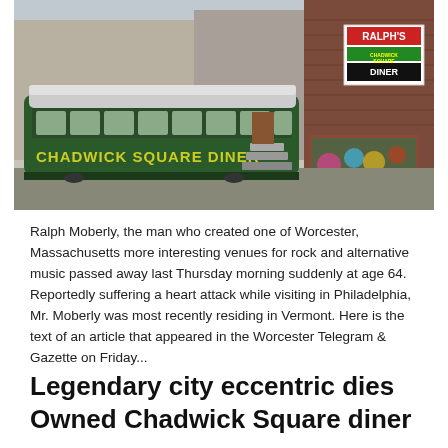[Figure (photo): Exterior photograph of Chadwick Square Diner, a vintage railroad-car style diner painted dark green with yellow lettering reading 'CHADWICK SQUARE DINER' on the side. A red brick building is adjacent on the right with a sign reading 'RALPH'S CHADWICK SQUARE DINER'. Steps lead up to the diner entrance.]
Ralph Moberly, the man who created one of Worcester, Massachusetts more interesting venues for rock and alternative music passed away last Thursday morning suddenly at age 64.  Reportedly suffering a heart attack while visiting in Philadelphia, Mr. Moberly was most recently residing in Vermont. Here is the text of an article that appeared in the Worcester Telegram & Gazette on Friday...
Legendary city eccentric dies Owned Chadwick Square diner